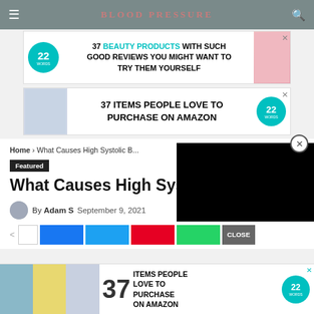BLOOD PRESSURE
[Figure (screenshot): Advertisement banner: 37 BEAUTY PRODUCTS WITH SUCH GOOD REVIEWS YOU MIGHT WANT TO TRY THEM YOURSELF - 22 Words]
[Figure (screenshot): Advertisement banner: 37 ITEMS PEOPLE LOVE TO PURCHASE ON AMAZON - 22 Words]
Home › What Causes High Systolic B...
Featured
What Causes High Systolic...
By Adam S  September 9, 2021  203 views  0 comments
[Figure (screenshot): Bottom advertisement: 37 ITEMS PEOPLE LOVE TO PURCHASE ON AMAZON - 22 Words]